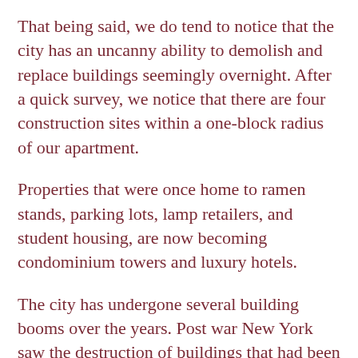That being said, we do tend to notice that the city has an uncanny ability to demolish and replace buildings seemingly overnight. After a quick survey, we notice that there are four construction sites within a one-block radius of our apartment.
Properties that were once home to ramen stands, parking lots, lamp retailers, and student housing, are now becoming condominium towers and luxury hotels.
The city has undergone several building booms over the years. Post war New York saw the destruction of buildings that had been considered first-of-their-kind technical achievements only a few years before. They were swiftly replaced with new skyscrapers boasting modern necessities like air conditioning, elevators, and open-floor office plans.
A new building boom is rising to the...